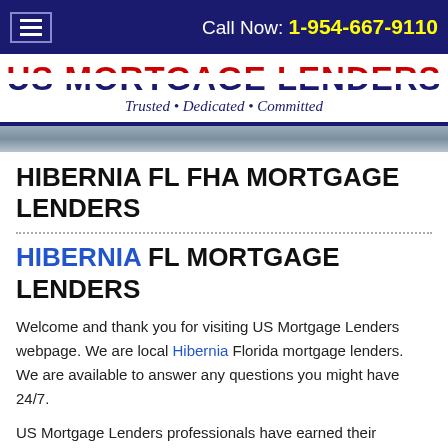Call Now: 1-954-667-9110
[Figure (logo): US Mortgage Lenders logo with red/white/blue striped text and tagline 'Trusted • Dedicated • Committed']
HIBERNIA FL FHA MORTGAGE LENDERS
HIBERNIA FL MORTGAGE LENDERS
Welcome and thank you for visiting US Mortgage Lenders webpage. We are local Hibernia Florida mortgage lenders.  We are available to answer any questions you might have 24/7.
US Mortgage Lenders professionals have earned their excellent 5 star zillow and google reviews by opening more